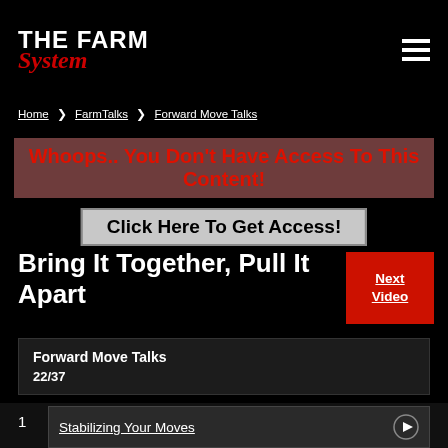The Farm System
Home › FarmTalks › Forward Move Talks
Whoops.. You Don't Have Access To This Content!
Click Here To Get Access!
Bring It Together, Pull It Apart
Next Video
Forward Move Talks
22/37
1  Stabilizing Your Moves